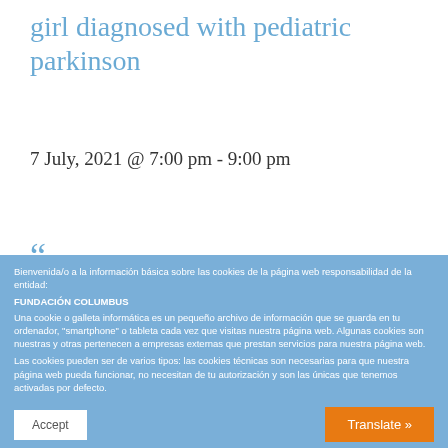girl diagnosed with pediatric parkinson
7 July, 2021 @ 7:00 pm - 9:00 pm
Bienvenida/o a la información básica sobre las cookies de la página web responsabilidad de la entidad:
FUNDACIÓN COLUMBUS
Una cookie o galleta informática es un pequeño archivo de información que se guarda en tu ordenador, "smartphone" o tableta cada vez que visitas nuestra página web. Algunas cookies son nuestras y otras pertenecen a empresas externas que prestan servicios para nuestra página web.
Las cookies pueden ser de varios tipos: las cookies técnicas son necesarias para que nuestra página web pueda funcionar, no necesitan de tu autorización y son las únicas que tenemos activadas por defecto.
El resto de cookies sirven para mejorar nuestra página, para personalizarla en base a tus preferencias, o para poder mostrarte publicidad ajustada a tus búsquedas, gustos e intereses personales. Puedes aceptar todas estas cookies pulsando el botón ACEPTAR o configurarlas o rechazar su uso clicando en el apartado CONFIGURACIÓN DE COOKIES.
Si quieres más información, consulta la POLÍTICA DE COOKIES de nuestra página web.
Configuración de cookies
Accept
Translate »